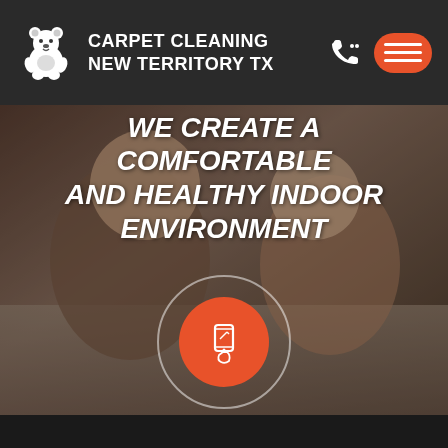[Figure (logo): Header bar with teddy bear logo, brand name CARPET CLEANING NEW TERRITORY TX, phone icon, and orange hamburger menu button]
[Figure (photo): Hero background photo of a father and young son lying on carpet face-to-face, smiling at each other]
WE CREATE A COMFORTABLE AND HEALTHY INDOOR ENVIRONMENT
[Figure (illustration): Orange circular button with white smartphone/hand icon inside, surrounded by a larger semi-transparent circle outline]